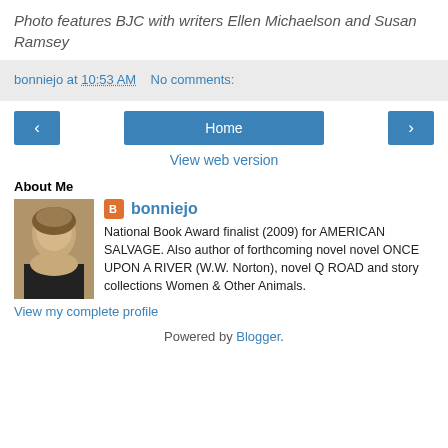Photo features BJC with writers Ellen Michaelson and Susan Ramsey
bonniejo at 10:53 AM    No comments:
[Figure (other): Navigation buttons: left arrow, Home button, right arrow]
View web version
About Me
[Figure (photo): Profile photo of bonniejo]
bonniejo
National Book Award finalist (2009) for AMERICAN SALVAGE. Also author of forthcoming novel novel ONCE UPON A RIVER (W.W. Norton), novel Q ROAD and story collections Women & Other Animals.
View my complete profile
Powered by Blogger.